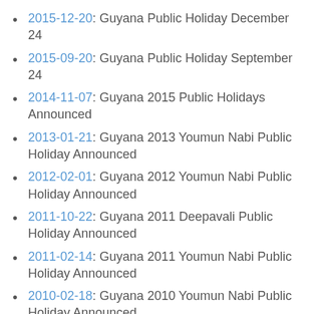2015-12-20: Guyana Public Holiday December 24
2015-09-20: Guyana Public Holiday September 24
2014-11-07: Guyana 2015 Public Holidays Announced
2013-01-21: Guyana 2013 Youmun Nabi Public Holiday Announced
2012-02-01: Guyana 2012 Youmun Nabi Public Holiday Announced
2011-10-22: Guyana 2011 Deepavali Public Holiday Announced
2011-02-14: Guyana 2011 Youmun Nabi Public Holiday Announced
2010-02-18: Guyana 2010 Youmun Nabi Public Holiday Announced
2009-03-01: Guyana 2009 Youmun Nabi Public Holiday Announced
2007-03-22: Guyana 2007 Youmun Nabi Public Holiday Announced